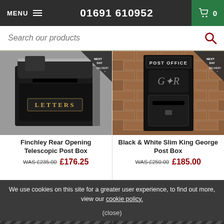MENU  01691 610952  0
Search our products
[Figure (photo): Finchley Rear Opening Telescopic Post Box - black metal post box with LETTERS label]
Finchley Rear Opening Telescopic Post Box
WAS £235.00  £176.25
[Figure (photo): Black & White Slim King George Post Box mounted on brick wall with POST OFFICE text and GR cipher]
Black & White Slim King George Post Box
WAS £250.00  £185.00
We use cookies on this site for a greater user experience, to find out more, view our cookie policy.
(close)